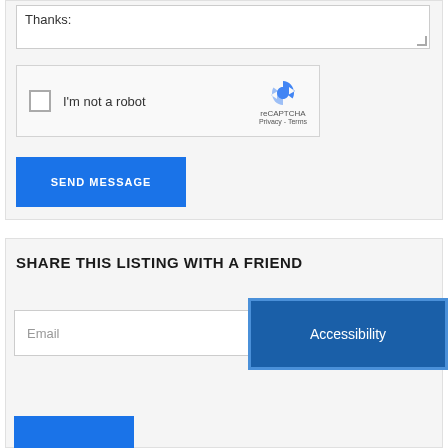Thanks:
[Figure (screenshot): reCAPTCHA widget with checkbox labeled 'I'm not a robot', reCAPTCHA logo, Privacy and Terms links]
SEND MESSAGE
SHARE THIS LISTING WITH A FRIEND
Email
[Figure (screenshot): Accessibility button overlay in dark blue with white text]